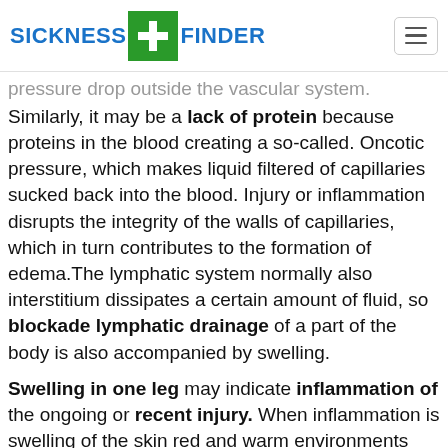SICKNESS FINDER
pressure drop outside the vascular system.
Similarly, it may be a lack of protein because proteins in the blood creating a so-called. Oncotic pressure, which makes liquid filtered of capillaries sucked back into the blood. Injury or inflammation disrupts the integrity of the walls of capillaries, which in turn contributes to the formation of edema.The lymphatic system normally also interstitium dissipates a certain amount of fluid, so blockade lymphatic drainage of a part of the body is also accompanied by swelling.
Swelling in one leg may indicate inflammation of the ongoing or recent injury. When inflammation is swelling of the skin red and warm environments